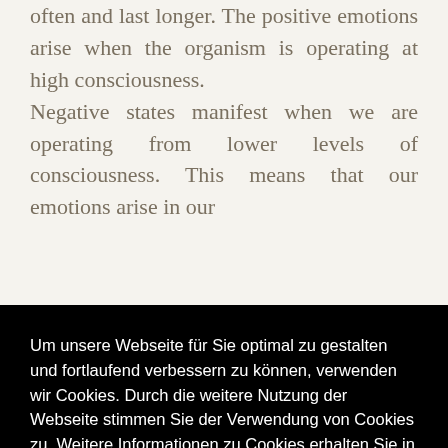often and last longer. The positive emotions arise when the organism is operating at high consciousness. Negative states manifest when we are operating from lower levels of consciousness. This means that our emotions arise in our
Um unsere Webseite für Sie optimal zu gestalten und fortlaufend verbessern zu können, verwenden wir Cookies. Durch die weitere Nutzung der Webseite stimmen Sie der Verwendung von Cookies zu. Weitere Informationen zu Cookies erhalten Sie in unserer Datenschutzerklärung
Verstanden
combined with altruistic intent.